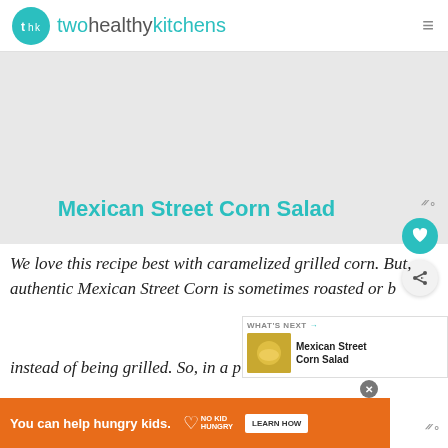twohealthykitchens
[Figure (other): Gray advertisement placeholder area]
Mexican Street Corn Salad
We love this recipe best with caramelized grilled corn. But, authentic Mexican Street Corn is sometimes roasted or b... instead of being grilled. So, in a pinch, feel ...
[Figure (other): What's Next overlay with thumbnail image of Mexican Street Corn Salad]
[Figure (other): Bottom advertisement banner: You can help hungry kids. No Kid Hungry. Learn How.]